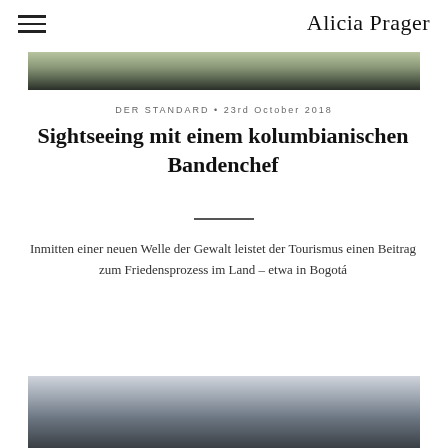Alicia Prager
[Figure (photo): Top portion of an outdoor photograph, partially visible]
DER STANDARD • 23rd October 2018
Sightseeing mit einem kolumbianischen Bandenchef
Inmitten einer neuen Welle der Gewalt leistet der Tourismus einen Beitrag zum Friedensprozess im Land – etwa in Bogotá
[Figure (photo): Bottom portion of an outdoor photograph, partially visible, showing rooftop and sky]